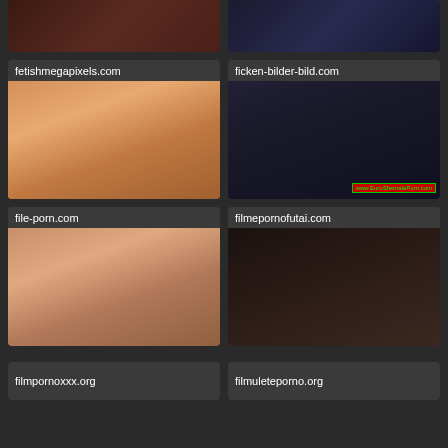[Figure (photo): Top left partial thumbnail - partial view of a person]
[Figure (photo): Top right partial thumbnail - person near a laptop]
fetishmegapixels.com
[Figure (photo): Woman in bra posing - fetishmegapixels.com thumbnail]
ficken-bilder-bild.com
[Figure (photo): Two people - ficken-bilder-bild.com thumbnail with EuroShemalePorn.com watermark]
file-porn.com
[Figure (photo): Woman with dark hair - file-porn.com thumbnail]
filmepornofutai.com
[Figure (photo): Dark blurry image - filmepornofutai.com thumbnail]
filmpornoxxx.org
filmuleteporno.org